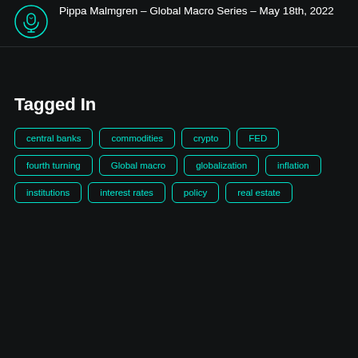Pippa Malmgren – Global Macro Series – May 18th, 2022
Tagged In
central banks
commodities
crypto
FED
fourth turning
Global macro
globalization
inflation
institutions
interest rates
policy
real estate